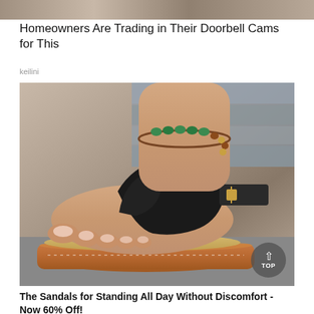[Figure (photo): Top banner image strip, partially visible at top of page]
Homeowners Are Trading in Their Doorbell Cams for This
keilini
[Figure (photo): Close-up photo of a woman's foot wearing a black thong sandal with embossed leather detailing, an ankle bracelet with green and brown beads, a buckle strap, and a platform sole with brown/tan color. A 'TOP' scroll button is visible in the bottom right corner of the image.]
The Sandals for Standing All Day Without Discomfort - Now 60% Off!